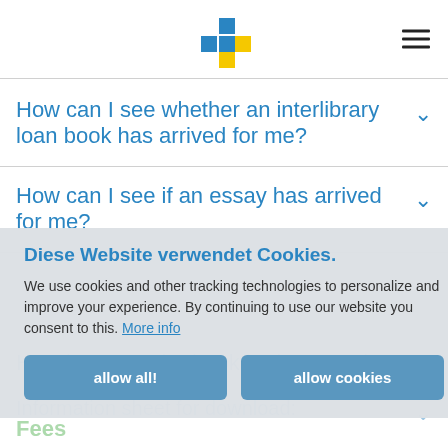[Figure (logo): Blue and yellow plus/cross logo icon]
How can I see whether an interlibrary loan book has arrived for me?
How can I see if an essay has arrived for me?
How long can the book be borrowed?
Information sheet for download:
Diese Website verwendet Cookies.
We use cookies and other tracking technologies to personalize and improve your experience. By continuing to use our website you consent to this. More info
Fees